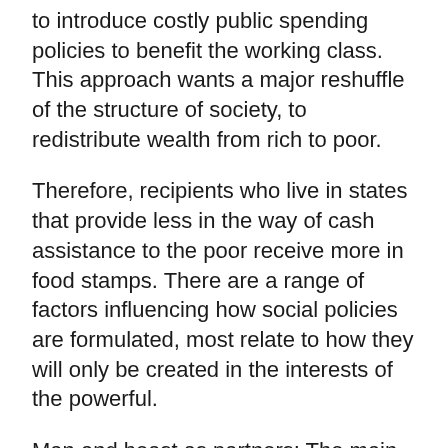to introduce costly public spending policies to benefit the working class. This approach wants a major reshuffle of the structure of society, to redistribute wealth from rich to poor.
Therefore, recipients who live in states that provide less in the way of cash assistance to the poor receive more in food stamps. There are a range of factors influencing how social policies are formulated, most relate to how they will only be created in the interests of the powerful.
Man and beast as partners: The main focus is through a discussion of sociological, philosophical and policy based issues to explore the purpose of education in a modern globalised world.
Optional modules Analysing Public Policy The module examines how public policy is made within government. Food stamp recipients spend their benefits to buy eligible food in authorized retail stores. Sociologists may tone